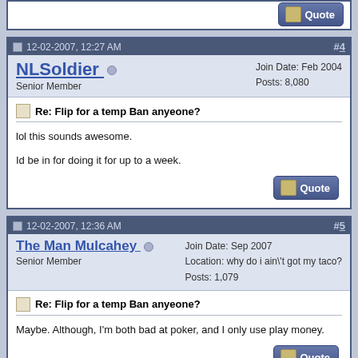12-02-2007, 12:27 AM  #4
NLSoldier  Senior Member  Join Date: Feb 2004  Posts: 8,080
Re: Flip for a temp Ban anyeone?
lol this sounds awesome.

Id be in for doing it for up to a week.
12-02-2007, 12:36 AM  #5
The Man Mulcahey  Senior Member  Join Date: Sep 2007  Location: why do i ain\'t got my taco?  Posts: 1,079
Re: Flip for a temp Ban anyeone?
Maybe. Although, I'm both bad at poker, and I only use play money.
12-02-2007, 12:38 AM  #6